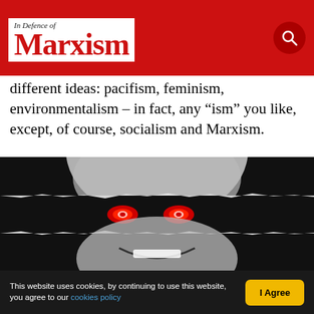In Defence of Marxism
different ideas: pacifism, feminism, environmentalism – in fact, any “ism” you like, except, of course, socialism and Marxism.
[Figure (photo): Black and white close-up photo of a man's face with a torn black band across the eyes revealing glowing red demonic eyes, and a wide grinning smile below.]
This website uses cookies, by continuing to use this website, you agree to our cookies policy  I Agree